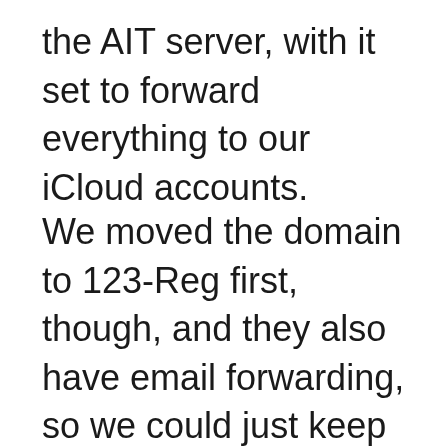the AIT server, with it set to forward everything to our iCloud accounts.
We moved the domain to 123-Reg first, though, and they also have email forwarding, so we could just keep doing that. The simplest way of doing WordPress.com hosting is to